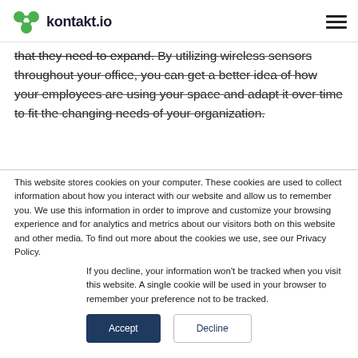kontakt.io
that they need to expand. By utilizing wireless sensors throughout your office, you can get a better idea of how your employees are using your space and adapt it over time to fit the changing needs of your organization.
This website stores cookies on your computer. These cookies are used to collect information about how you interact with our website and allow us to remember you. We use this information in order to improve and customize your browsing experience and for analytics and metrics about our visitors both on this website and other media. To find out more about the cookies we use, see our Privacy Policy.
If you decline, your information won't be tracked when you visit this website. A single cookie will be used in your browser to remember your preference not to be tracked.
Accept  Decline